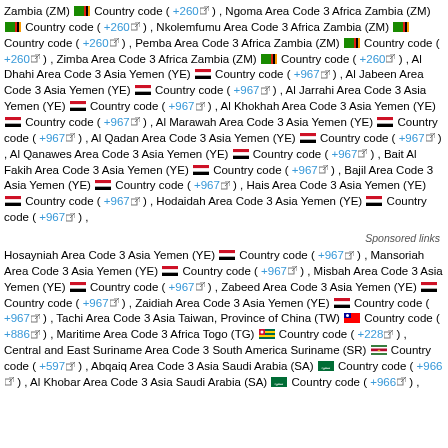Zambia (ZM) Country code (+260), Ngoma Area Code 3 Africa Zambia (ZM) Country code (+260), Nkolemfumu Area Code 3 Africa Zambia (ZM) Country code (+260), Pemba Area Code 3 Africa Zambia (ZM) Country code (+260), Zimba Area Code 3 Africa Zambia (ZM) Country code (+260), Al Dhahi Area Code 3 Asia Yemen (YE) Country code (+967), Al Jabeen Area Code 3 Asia Yemen (YE) Country code (+967), Al Jarrahi Area Code 3 Asia Yemen (YE) Country code (+967), Al Khokhah Area Code 3 Asia Yemen (YE) Country code (+967), Al Marawah Area Code 3 Asia Yemen (YE) Country code (+967), Al Qadan Area Code 3 Asia Yemen (YE) Country code (+967), Al Qanawes Area Code 3 Asia Yemen (YE) Country code (+967), Bait Al Fakih Area Code 3 Asia Yemen (YE) Country code (+967), Bajil Area Code 3 Asia Yemen (YE) Country code (+967), Hais Area Code 3 Asia Yemen (YE) Country code (+967), Hodaidah Area Code 3 Asia Yemen (YE) Country code (+967),
Sponsored links
Hosayniah Area Code 3 Asia Yemen (YE) Country code (+967), Mansoriah Area Code 3 Asia Yemen (YE) Country code (+967), Misbah Area Code 3 Asia Yemen (YE) Country code (+967), Zabeed Area Code 3 Asia Yemen (YE) Country code (+967), Zaidiah Area Code 3 Asia Yemen (YE) Country code (+967), Tachi Area Code 3 Asia Taiwan, Province of China (TW) Country code (+886), Maritime Area Code 3 Africa Togo (TG) Country code (+228), Central and East Suriname Area Code 3 South America Suriname (SR) Country code (+597), Abqaiq Area Code 3 Asia Saudi Arabia (SA) Country code (+966), Al Khobar Area Code 3 Asia Saudi Arabia (SA) Country code (+966),